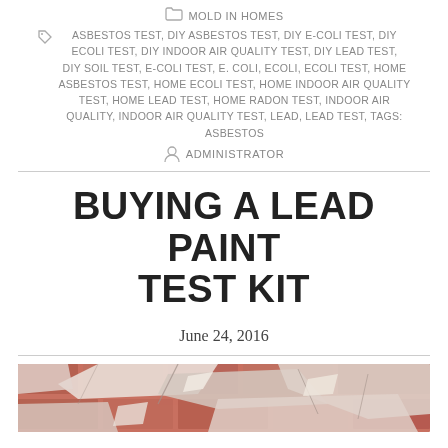MOLD IN HOMES
ASBESTOS TEST, DIY ASBESTOS TEST, DIY E-COLI TEST, DIY ECOLI TEST, DIY INDOOR AIR QUALITY TEST, DIY LEAD TEST, DIY SOIL TEST, E-COLI TEST, E. COLI, ECOLI, ECOLI TEST, HOME ASBESTOS TEST, HOME ECOLI TEST, HOME INDOOR AIR QUALITY TEST, HOME LEAD TEST, HOME RADON TEST, INDOOR AIR QUALITY, INDOOR AIR QUALITY TEST, LEAD, LEAD TEST, TAGS: ASBESTOS
ADMINISTRATOR
BUYING A LEAD PAINT TEST KIT
June 24, 2016
[Figure (photo): Peeling lead paint on a brick wall, showing red and white layers of paint chipping and flaking off.]